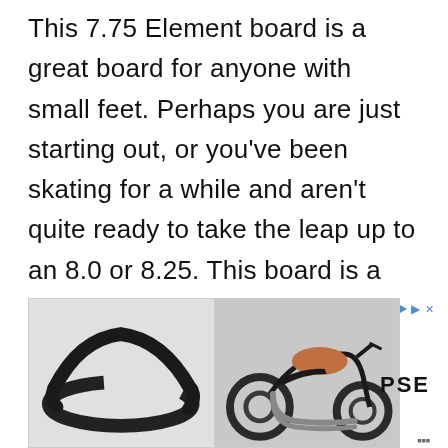This 7.75 Element board is a great board for anyone with small feet. Perhaps you are just starting out, or you've been skating for a while and aren't quite ready to take the leap up to an 8.0 or 8.25. This board is a great size for street skating. It provides a good amount of control but is still great for flip tricks and flip...
[Figure (photo): Advertisement banner showing two product images: a black motorcycle fender on the left and a black/orange Harley-style motorcycle on the right, with a PSE logo on the far right and an ad label with play/close icons in the top right corner.]